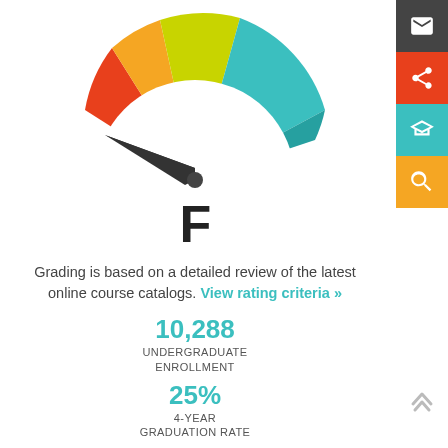[Figure (other): Gauge/speedometer dial showing grade F. Dial has colored segments: red (far left), orange, yellow-green (top), teal/cyan (right). Needle points to far left (F zone). Grade letter F shown below.]
F
Grading is based on a detailed review of the latest online course catalogs. View rating criteria »
10,288
UNDERGRADUATE
ENROLLMENT
25%
4-YEAR
GRADUATION RATE
$8,580